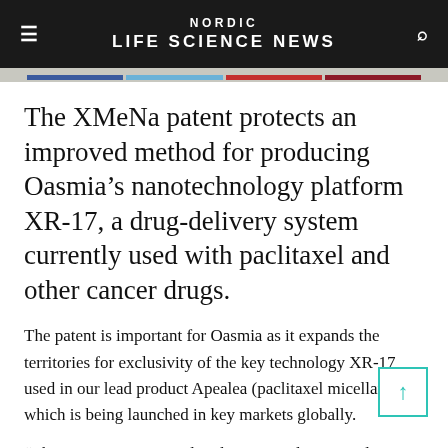NORDIC LIFE SCIENCE NEWS
The XMeNa patent protects an improved method for producing Oasmia’s nanotechnology platform XR-17, a drug-delivery system currently used with paclitaxel and other cancer drugs.
The patent is important for Oasmia as it expands the territories for exclusivity of the key technology XR-17 used in our lead product Apealea (paclitaxel micellar), which is being launched in key markets globally.
“The XMeNa patent is already approved in several major